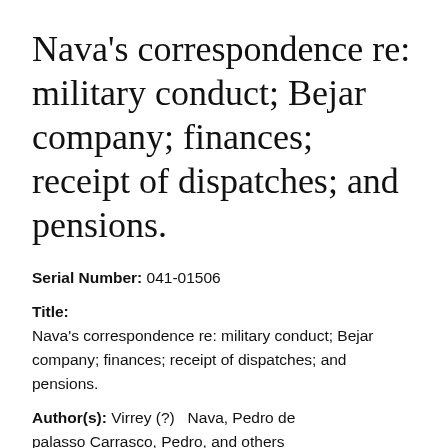Nava's correspondence re: military conduct; Bejar company; finances; receipt of dispatches; and pensions.
Serial Number: 041-01506
Title: Nava's correspondence re: military conduct; Bejar company; finances; receipt of dispatches; and pensions.
Author(s): Virrey (?)  Nava, Pedro de palasso Carrasco, Pedro,  and others